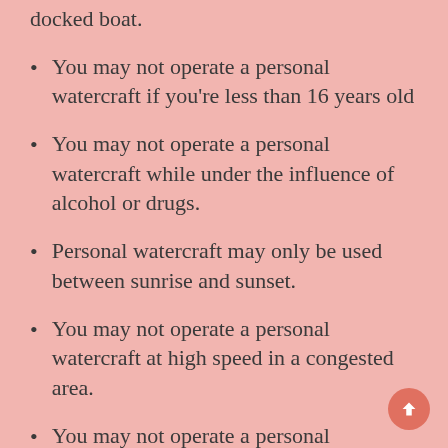docked boat.
You may not operate a personal watercraft if you're less than 16 years old
You may not operate a personal watercraft while under the influence of alcohol or drugs.
Personal watercraft may only be used between sunrise and sunset.
You may not operate a personal watercraft at high speed in a congested area.
You may not operate a personal watercraft on waters less than 75 acres.
You may not operate a personal watercraft while towing a person on skis, a tube, etc.